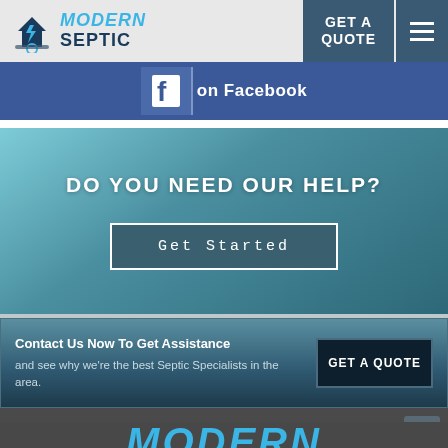MODERN SEPTIC — GET A QUOTE
[Figure (logo): Modern Septic logo with house and lightning bolt icon, blue text]
on Facebook
DO YOU NEED OUR HELP?
Get Started
Contact Us Now To Get Assistance
and see why we're the best Septic Specialists in the area.
GET A QUOTE